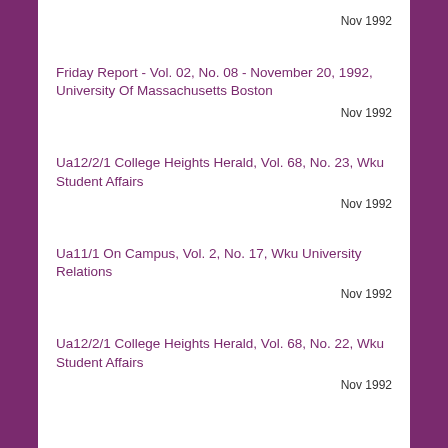Nov 1992
Friday Report - Vol. 02, No. 08 - November 20, 1992, University Of Massachusetts Boston
Nov 1992
Ua12/2/1 College Heights Herald, Vol. 68, No. 23, Wku Student Affairs
Nov 1992
Ua11/1 On Campus, Vol. 2, No. 17, Wku University Relations
Nov 1992
Ua12/2/1 College Heights Herald, Vol. 68, No. 22, Wku Student Affairs
Nov 1992